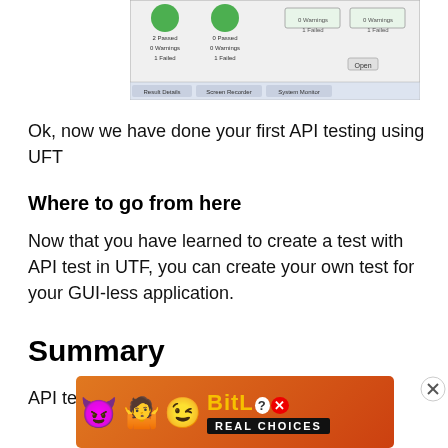[Figure (screenshot): Screenshot of UFT test results panel showing passed/warnings/failed counts for multiple test runs]
Ok, now we have done your first API testing using UFT
Where to go from here
Now that you have learned to create a test with API test in UTF, you can create your own test for your GUI-less application.
Summary
API testing is the testing below the GUI and
[Figure (illustration): BitLife advertisement banner with emojis and REAL CHOICES tagline]